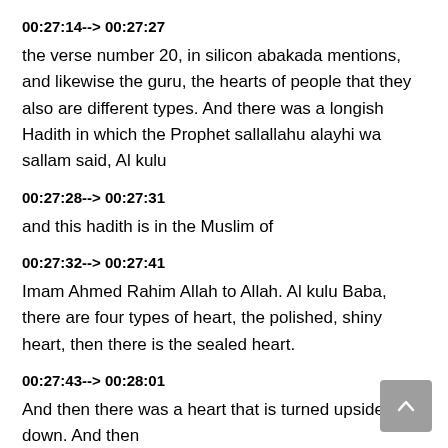00:27:14--> 00:27:27
the verse number 20, in silicon abakada mentions, and likewise the guru, the hearts of people that they also are different types. And there was a longish Hadith in which the Prophet sallallahu alayhi wa sallam said, Al kulu
00:27:28--> 00:27:31
and this hadith is in the Muslim of
00:27:32--> 00:27:41
Imam Ahmed Rahim Allah to Allah. Al kulu Baba, there are four types of heart, the polished, shiny heart, then there is the sealed heart.
00:27:43--> 00:28:01
And then there was a heart that is turned upside down. And then